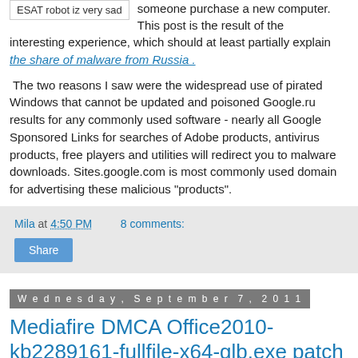[Figure (illustration): Small box with text 'ESAT robot iz very sad']
someone purchase a new computer. This post is the result of the interesting experience, which should at least partially explain the share of malware from Russia .
the share of malware from Russia .
The two reasons I saw were the widespread use of pirated Windows that cannot be updated and poisoned Google.ru results for any commonly used software - nearly all Google Sponsored Links for searches of Adobe products, antivirus products, free players and utilities will redirect you to malware downloads. Sites.google.com is most commonly used domain for advertising these malicious "products".
Mila at 4:50 PM    8 comments:
Share
Wednesday, September 7, 2011
Mediafire DMCA Office2010-kb2289161-fullfile-x64-glb.exe patch email